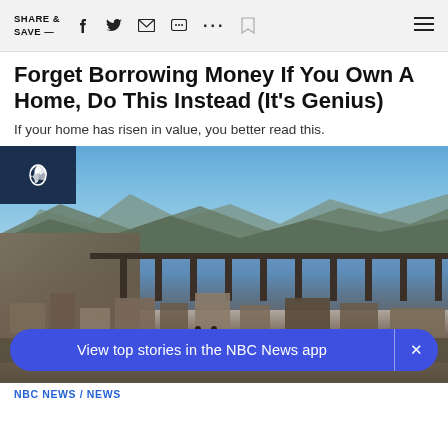SHARE & SAVE —
Forget Borrowing Money If You Own A Home, Do This Instead (It's Genius)
If your home has risen in value, you better read this.
[Figure (photo): Aerial view of ruins of a submerged village exposed by low water levels, with a tall railway bridge crossing a blue reservoir lake, dry rocky terrain and mountains in the background under a blue sky.]
View top stories in the NBC News app
NBC NEWS / NEWS